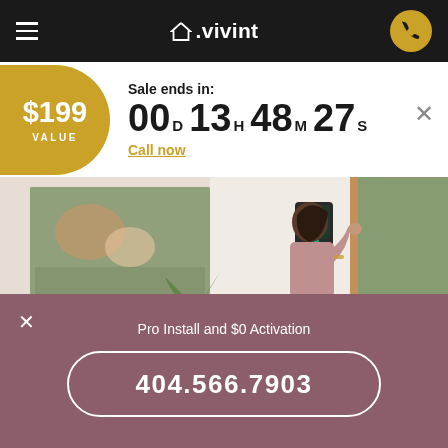Vivint
Sale ends in: 00D 13H 48M 27S
Call now
[Figure (photo): Woman touching a Vivint smart home panel on a wall in a modern home interior with artwork, sideboard, and outdoor greenery visible]
Pro Install and $0 Activation
404.566.7903